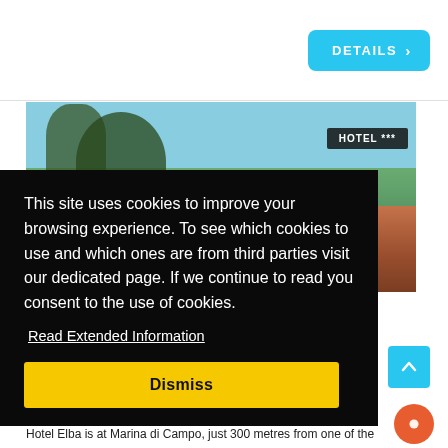[Figure (screenshot): DETAILS button with right arrow on blue background]
[Figure (photo): Hotel exterior photo with trees and building. HOTEL *** badge overlaid on dark background in upper right.]
This site uses cookies to improve your browsing experience. To see which cookies to use and which ones are from third parties visit our dedicated page. If we continue to read you consent to the use of cookies.
Read Extended Information
Dismiss
Hotel Elba is at Marina di Campo, just 300 metres from one of the